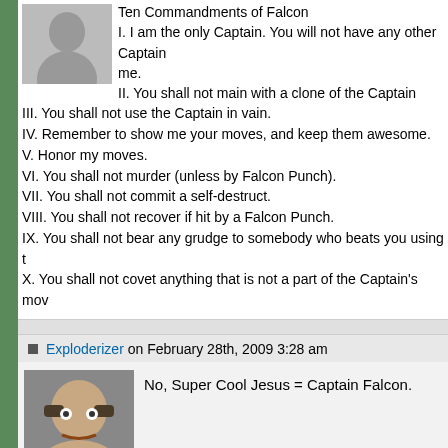Ten Commandments of Falcon
I. I am the only Captain. You will not have any other Captain before me.
II. You shall not main with a clone of the Captain
III. You shall not use the Captain in vain.
IV. Remember to show me your moves, and keep them awesome.
V. Honor my moves.
VI. You shall not murder (unless by Falcon Punch).
VII. You shall not commit a self-destruct.
VIII. You shall not recover if hit by a Falcon Punch.
IX. You shall not bear any grudge to somebody who beats you using t
X. You shall not covet anything that is not a part of the Captain's mov
Exploderizer on February 28th, 2009 3:28 am
No, Super Cool Jesus = Captain Falcon.
KingofRetards on February 28th, 2009 3:43 am
I think you got it right :P
MrRaccoon on February 28th, 2009 3:53 am